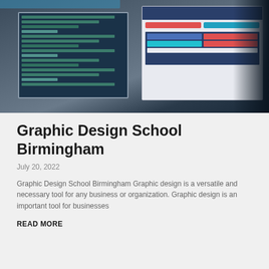[Figure (photo): Person sitting in front of multiple computer monitors showing code and a web interface with colorful buttons and panels]
Graphic Design School Birmingham
July 20, 2022
Graphic Design School Birmingham Graphic design is a versatile and necessary tool for any business or organization. Graphic design is an important tool for businesses
READ MORE